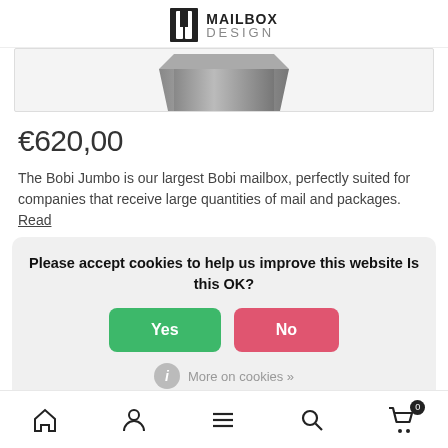[Figure (logo): Mailbox Design logo with black door icon and text MAILBOX DESIGN]
[Figure (photo): Partial product image of a large stainless steel mailbox (Bobi Jumbo) cut off at top]
€620,00
The Bobi Jumbo is our largest Bobi mailbox, perfectly suited for companies that receive large quantities of mail and packages. Read
Please accept cookies to help us improve this website Is this OK?
Yes
No
More on cookies »
Home | Account | Menu | Search | Cart (0)